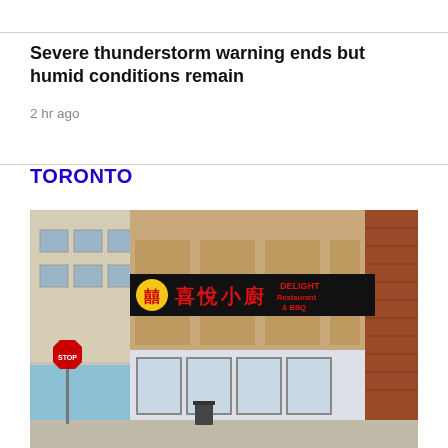Severe thunderstorm warning ends but humid conditions remain
2 hr ago
TORONTO
[Figure (photo): Exterior photo of a Chinese restaurant called 'Delight Restaurant & BBQ' (喜悅小廚) with a black signboard featuring red Chinese characters and a yellow double-happiness symbol, located in a commercial building with brick facade. A stop sign and sidewalk are visible.]